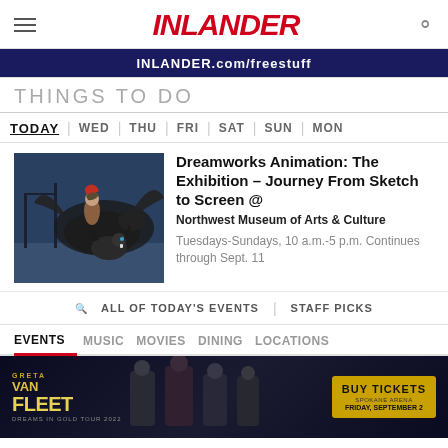INLANDER
[Figure (screenshot): Banner advertisement for INLANDER.com/freestuff on dark blue background]
THINGS TO DO
TODAY | WED | THU | FRI | SAT | SUN | MON
[Figure (photo): Movie scene from How To Train Your Dragon with character riding a dragon]
Dreamworks Animation: The Exhibition – Journey From Sketch to Screen @ Northwest Museum of Arts & Culture
Tuesdays-Sundays, 10 a.m.-5 p.m. Continues through Sept. 11
ALL OF TODAY'S EVENTS | STAFF PICKS
EVENTS  MUSIC  MOVIES  DINING  LOCATIONS
[Figure (screenshot): Advertisement for Greta Van Fleet Dreams in Gold Tour 2022 at Spokane Arena, Friday September 2, with Buy Tickets button]